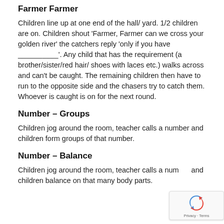Farmer Farmer
Children line up at one end of the hall/ yard. 1/2 children are on. Children shout ‘Farmer, Farmer can we cross your golden river’ the catchers reply ‘only if you have __________’. Any child that has the requirement (a brother/sister/red hair/ shoes with laces etc.) walks across and can’t be caught. The remaining children then have to run to the opposite side and the chasers try to catch them. Whoever is caught is on for the next round.
Number – Groups
Children jog around the room, teacher calls a number and children form groups of that number.
Number – Balance
Children jog around the room, teacher calls a number and children balance on that many body parts.